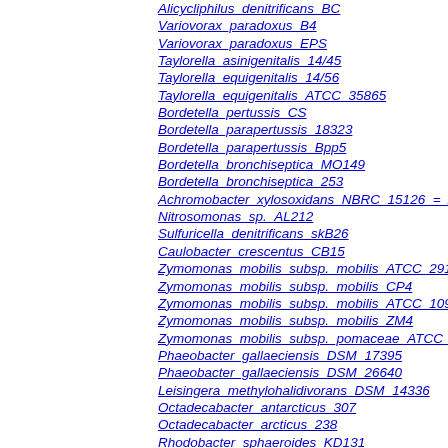Alicycliphilus_denitrificans_BC
Variovorax_paradoxus_B4
Variovorax_paradoxus_EPS
Taylorella_asinigenitalis_14/45
Taylorella_equigenitalis_14/56
Taylorella_equigenitalis_ATCC_35865
Bordetella_pertussis_CS
Bordetella_parapertussis_18323
Bordetella_parapertussis_Bpp5
Bordetella_bronchiseptica_MO149
Bordetella_bronchiseptica_253
Achromobacter_xylosoxidans_NBRC_15126_=_A...
Nitrosomonas_sp._AL212
Sulfuricella_denitrificans_skB26
Caulobacter_crescentus_CB15
Zymomonas_mobilis_subsp._mobilis_ATCC_2919...
Zymomonas_mobilis_subsp._mobilis_CP4
Zymomonas_mobilis_subsp._mobilis_ATCC_1098...
Zymomonas_mobilis_subsp._mobilis_ZM4
Zymomonas_mobilis_subsp._pomaceae_ATCC_2...
Phaeobacter_gallaeciensis_DSM_17395
Phaeobacter_gallaeciensis_DSM_26640
Leisingera_methylohalidivorans_DSM_14336
Octadecabacter_antarcticus_307
Octadecabacter_arcticus_238
Rhodobacter_sphaeroides_KD131
Rhodobacter_sphaeroides_ATCC_17025
Rhodobacter_sphaeroides_2.4.1
Paracoccus_aminophilus_JCM_7686
Candidatus_Endolissoclinum_faulkneri_L2
Mesorhizobium_amorphae_CCNWGS0123...